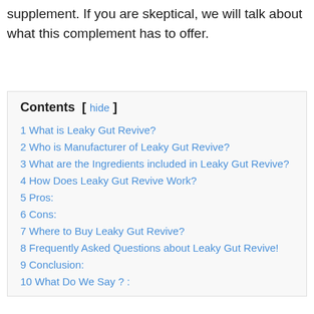supplement. If you are skeptical, we will talk about what this complement has to offer.
1 What is Leaky Gut Revive?
2 Who is Manufacturer of Leaky Gut Revive?
3 What are the Ingredients included in Leaky Gut Revive?
4 How Does Leaky Gut Revive Work?
5 Pros:
6 Cons:
7 Where to Buy Leaky Gut Revive?
8 Frequently Asked Questions about Leaky Gut Revive!
9 Conclusion:
10 What Do We Say ? :